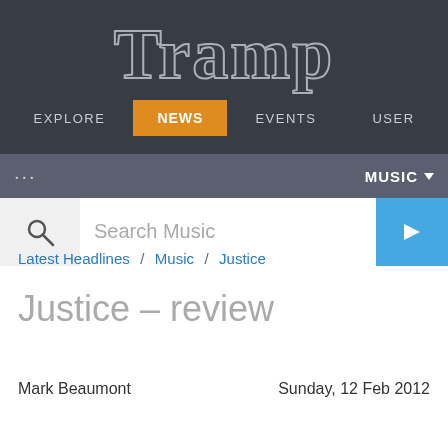[Figure (logo): Tramp website logo in outline/stroke style text on dark background]
Explore   News   Events   User
... MUSIC ▼
Search Music →
Latest Headlines / Music / Justice
Justice – review
Mark Beaumont   Sunday, 12 Feb 2012